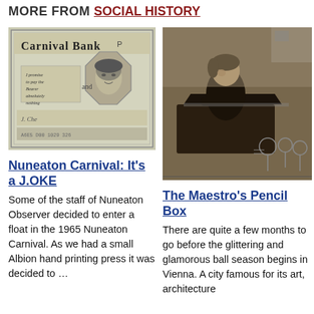MORE FROM SOCIAL HISTORY
[Figure (photo): Black and white image of a Carnival Bank novelty banknote with a woman's portrait in an octagonal frame and handwritten text 'J. Che']
Nuneaton Carnival: It's a J.OKE
Some of the staff of Nuneaton Observer decided to enter a float in the 1965 Nuneaton Carnival. As we had a small Albion hand printing press it was decided to …
[Figure (photo): Sepia-toned sketch/illustration of a young person (child) seated at a piano, playing, with audience figures sketched in the background]
The Maestro's Pencil Box
There are quite a few months to go before the glittering and glamorous ball season begins in Vienna. A city famous for its art, architecture